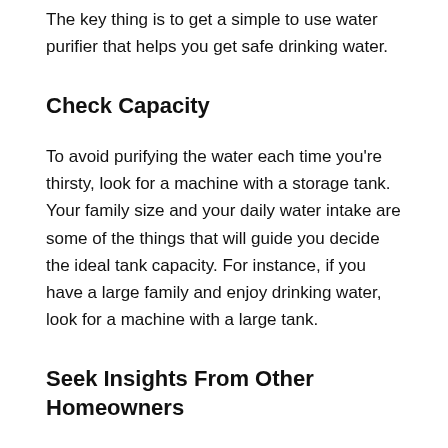The key thing is to get a simple to use water purifier that helps you get safe drinking water.
Check Capacity
To avoid purifying the water each time you're thirsty, look for a machine with a storage tank. Your family size and your daily water intake are some of the things that will guide you decide the ideal tank capacity. For instance, if you have a large family and enjoy drinking water, look for a machine with a large tank.
Seek Insights From Other Homeowners
Even after checking out the water purifier features, you're still undecided on whether to buy it. You have no clue whether this machine will meet your needs or not. To clear this confusion, consider reading online reviews from other